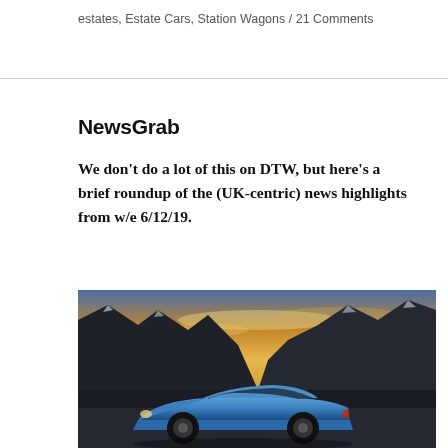estates, Estate Cars, Station Wagons / 21 Comments
NewsGrab
We don't do a lot of this on DTW, but here's a brief roundup of the (UK-centric) news highlights from w/e 6/12/19.
[Figure (photo): A blue sports car (likely Aston Martin) photographed at dusk against a dramatic rocky mountain backdrop with a golden sunset sky]